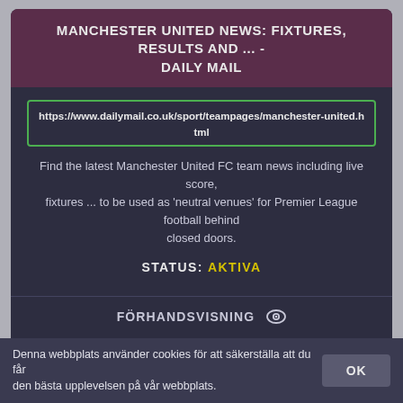MANCHESTER UNITED NEWS: FIXTURES, RESULTS AND ... - DAILY MAIL
https://www.dailymail.co.uk/sport/teampages/manchester-united.html
Find the latest Manchester United FC team news including live score, fixtures ... to be used as 'neutral venues' for Premier League football behind closed doors.
STATUS: AKTIVA
FÖRHANDSVISNING
LADDA NER
NEWS - LATEST NEWS FROM HULL AND THE UK - HULL LIVE - HULL DAILY MAIL
Denna webbplats använder cookies för att säkerställa att du får den bästa upplevelsen på vår webbplats.